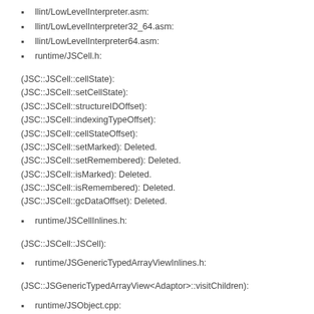llint/LowLevelInterpreter.asm:
llint/LowLevelInterpreter32_64.asm:
llint/LowLevelInterpreter64.asm:
runtime/JSCell.h:
(JSC::JSCell::cellState):
(JSC::JSCell::setCellState):
(JSC::JSCell::structureIDOffset):
(JSC::JSCell::indexingTypeOffset):
(JSC::JSCell::cellStateOffset):
(JSC::JSCell::setMarked): Deleted.
(JSC::JSCell::setRemembered): Deleted.
(JSC::JSCell::isMarked): Deleted.
(JSC::JSCell::isRemembered): Deleted.
(JSC::JSCell::gcDataOffset): Deleted.
runtime/JSCellInlines.h:
(JSC::JSCell::JSCell):
runtime/JSGenericTypedArrayViewInlines.h:
(JSC::JSGenericTypedArrayView<Adaptor>::visitChildren):
runtime/JSObject.cpp:
(JSC::JSObject::copyBackingStore):
runtime/JSString.cpp: